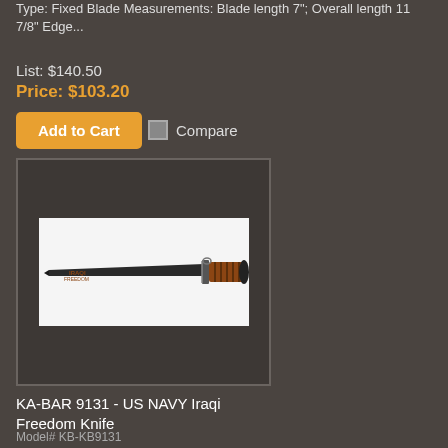Type: Fixed Blade Measurements: Blade length 7"; Overall length 11 7/8" Edge...
List: $140.50
Price: $103.20
Add to Cart
Compare
[Figure (photo): KA-BAR 9131 US NAVY Iraqi Freedom Knife with black blade and brown leather-wrapped handle]
KA-BAR 9131 - US NAVY Iraqi Freedom Knife
Model# KB-KB9131